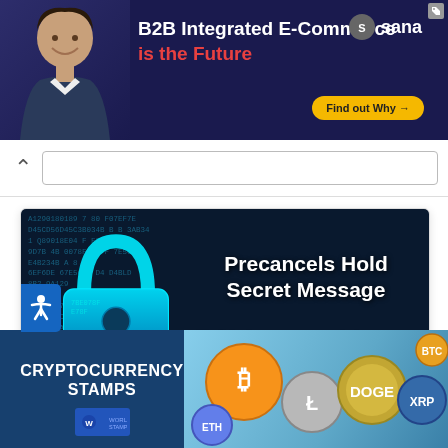[Figure (photo): Top banner advertisement for Sana B2B Integrated E-Commerce with text 'B2B Integrated E-Commerce is the Future' and 'Find out Why' button, blue background with man image]
[Figure (screenshot): Article card with dark digital/matrix background, glowing teal padlock icon, white bold text 'Precancels Hold Secret Message', subtitle 'Medicinal company canceled revenue stamps with coded shipping date']
The Collector of Revenue - Precancels Hold Secret
[Figure (photo): Bottom advertisement for CRYPTOCURRENCY STAMPS with coins imagery on light blue background]